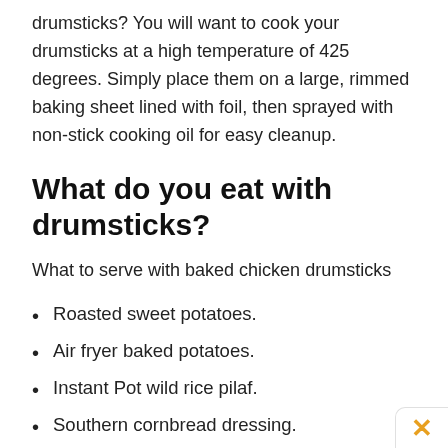drumsticks? You will want to cook your drumsticks at a high temperature of 425 degrees. Simply place them on a large, rimmed baking sheet lined with foil, then sprayed with non-stick cooking oil for easy cleanup.
What do you eat with drumsticks?
What to serve with baked chicken drumsticks
Roasted sweet potatoes.
Air fryer baked potatoes.
Instant Pot wild rice pilaf.
Southern cornbread dressing.